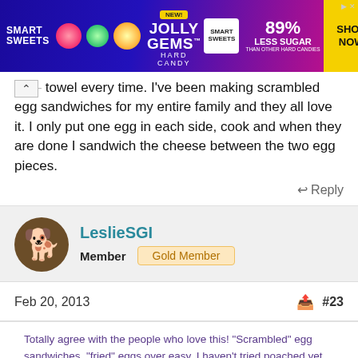[Figure (other): Smart Sweets Jolly Gems Hard Candy advertisement banner. Blue and pink gradient background. Text: NEW! JOLLY GEMS HARD CANDY, SMART SWEETS, 89% LESS SUGAR THAN OTHER HARD CANDIES, SHOP NOW]
towel every time. I've been making scrambled egg sandwiches for my entire family and they all love it. I only put one egg in each side, cook and when they are done I sandwich the cheese between the two egg pieces.
Reply
LeslieSGI
Member   Gold Member
Feb 20, 2013
#23
Totally agree with the people who love this! "Scrambled" egg sandwiches, "fried" eggs over easy. I haven't tried poached yet. Maybe this weekend.